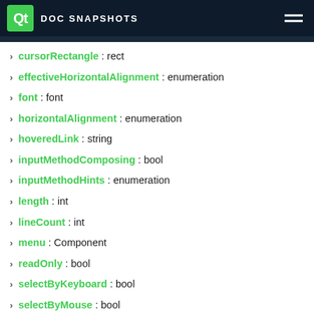Qt DOC SNAPSHOTS
cursorRectangle : rect
effectiveHorizontalAlignment : enumeration
font : font
horizontalAlignment : enumeration
hoveredLink : string
inputMethodComposing : bool
inputMethodHints : enumeration
length : int
lineCount : int
menu : Component
readOnly : bool
selectByKeyboard : bool
selectByMouse : bool
selectedText : string
selectionEnd : int